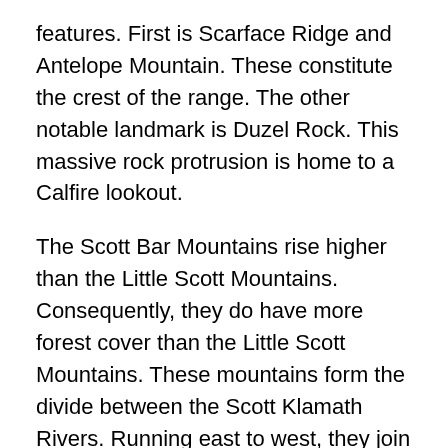features. First is Scarface Ridge and Antelope Mountain. These constitute the crest of the range. The other notable landmark is Duzel Rock. This massive rock protrusion is home to a Calfire lookout.
The Scott Bar Mountains rise higher than the Little Scott Mountains. Consequently, they do have more forest cover than the Little Scott Mountains. These mountains form the divide between the Scott Klamath Rivers. Running east to west, they join with the Little Scott Mountains just west of Yreka. Neither of these mountain ranges is in anyway developed for recreation. The only destination of note is Greenhorn Park in Yreka. This attractive park is on the very eastern fringe of the Scott Bar Mountains and has a well-developed trail system as well as a lake, playgrounds and other recreational facilities. Lack of significant blocks of established for the missing recreation characteristics of the